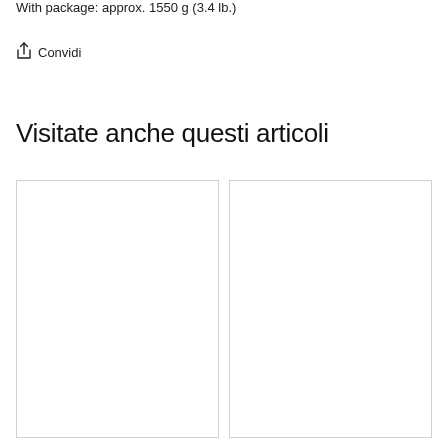With package: approx. 1550 g (3.4 lb.)
Convidi
Visitate anche questi articoli
[Figure (other): Empty white card/image placeholder (left)]
[Figure (other): Empty white card/image placeholder (right)]